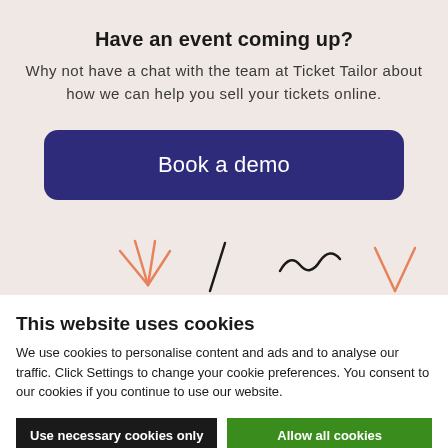Have an event coming up?
Why not have a chat with the team at Ticket Tailor about how we can help you sell your tickets online.
[Figure (other): Dark purple rounded button with white text 'Book a demo']
[Figure (illustration): Decorative illustration strip showing starburst and squiggle line doodles in salmon/coral and black on a light pink background]
This website uses cookies
We use cookies to personalise content and ads and to analyse our traffic. Click Settings to change your cookie preferences. You consent to our cookies if you continue to use our website.
Use necessary cookies only
Allow all cookies
Settings